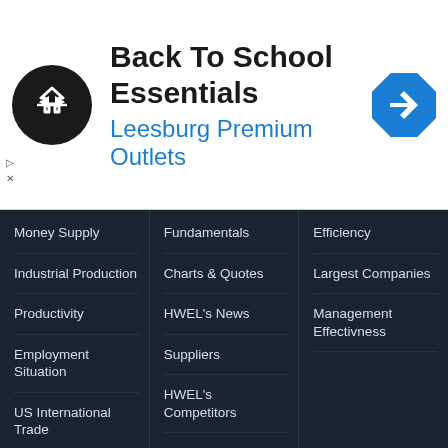[Figure (screenshot): Advertisement banner: Back To School Essentials at Leesburg Premium Outlets, with logo and navigation icon]
Money Supply
Industrial Production
Productivity
Employment Situation
US International Trade
Factory Orders
Durable Goods
Construction Spending
Fundamentals
Charts & Quotes
HWEL's News
Suppliers
HWEL's Competitors
Customers & Markets
Economic Indicators
HWEL's Growth
Company
Efficiency
Largest Companies
Management Effectivness